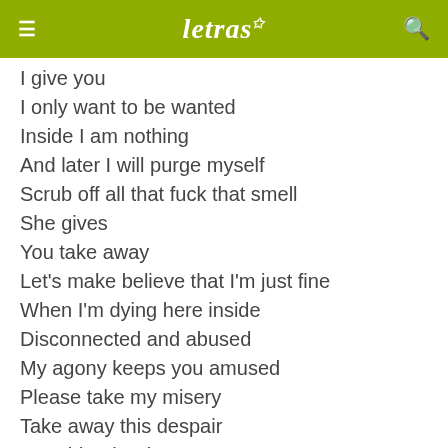letras
I give you
I only want to be wanted
Inside I am nothing
And later I will purge myself
Scrub off all that fuck that smell
She gives
You take away
Let's make believe that I'm just fine
When I'm dying here inside
Disconnected and abused
My agony keeps you amused
Please take my misery
Take away this despair
I would rather be empty